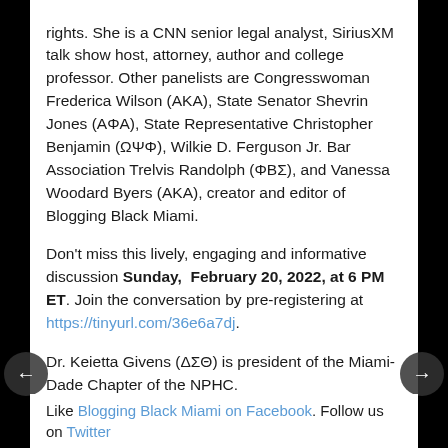rights. She is a CNN senior legal analyst, SiriusXM talk show host, attorney, author and college professor. Other panelists are Congresswoman Frederica Wilson (AKA), State Senator Shevrin Jones (AΦA), State Representative Christopher Benjamin (ΩΨΦ), Wilkie D. Ferguson Jr. Bar Association Trelvis Randolph (ΦBΣ), and Vanessa Woodard Byers (AKA), creator and editor of Blogging Black Miami.
Don't miss this lively, engaging and informative discussion Sunday, February 20, 2022, at 6 PM ET. Join the conversation by pre-registering at https://tinyurl.com/36e6a7dj.
Dr. Keietta Givens (ΔΣΘ) is president of the Miami-Dade Chapter of the NPHC.
Like Blogging Black Miami on Facebook. Follow us on Twitter